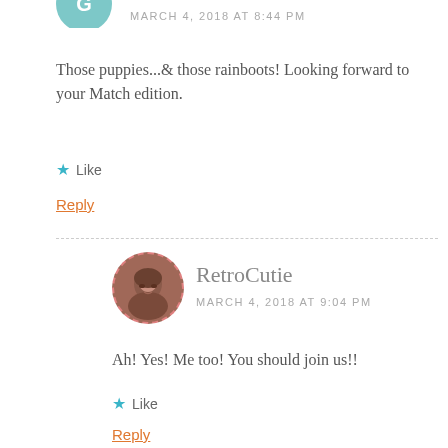[Figure (photo): Partial teal dashed circle avatar at top of page]
MARCH 4, 2018 AT 8:44 PM
Those puppies...& those rainboots! Looking forward to your Match edition.
Like
Reply
[Figure (photo): RetroCutie avatar photo — woman with reddish-brown hair, circular with pink dashed border]
RetroCutie
MARCH 4, 2018 AT 9:04 PM
Ah! Yes! Me too! You should join us!!
Like
Reply